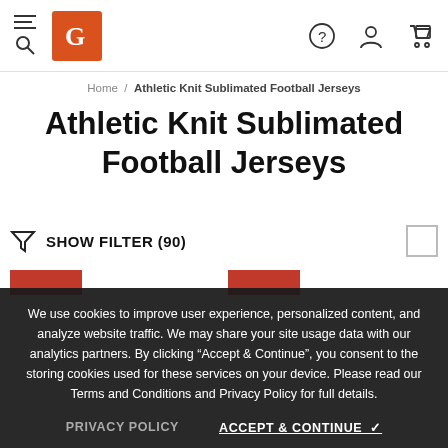CJ logo navigation bar with hamburger/search, logo, help icon, account icon, cart icon
Home / Athletic Knit Sublimated Football Jerseys
Athletic Knit Sublimated Football Jerseys
SHOW FILTER (90)
We use cookies to improve user experience, personalized content, and analyze website traffic. We may share your site usage data with our analytics partners. By clicking "Accept & Continue", you consent to the storing cookies used for these services on your device. Please read our Terms and Conditions and Privacy Policy for full details.
PRIVACY POLICY
ACCEPT & CONTINUE ✓